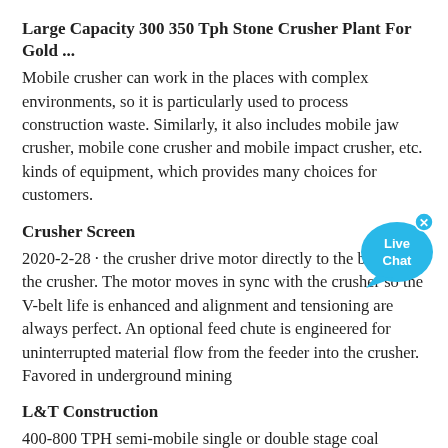Large Capacity 300 350 Tph Stone Crusher Plant For Gold ...
Mobile crusher can work in the places with complex environments, so it is particularly used to process construction waste. Similarly, it also includes mobile jaw crusher, mobile cone crusher and mobile impact crusher, etc. kinds of equipment, which provides many choices for customers.
Crusher Screen
2020-2-28 · the crusher drive motor directly to the back of the crusher. The motor moves in sync with the crusher so the V-belt life is enhanced and alignment and tensioning are always perfect. An optional feed chute is engineered for uninterrupted material flow from the feeder into the crusher. Favored in underground mining
L&T Construction
400-800 TPH semi-mobile single or double stage coal crushing cater to mining & power plant application for (-) 100 mm or (-) 20 mm sizing as required. 200-500 TPH customized skid plants for Aggregate,Limestone and Gypsum Crushing. 200 TPH fully mobile track mounted Crusher.
stone crusher plant in uganda, smelting of lead ore
Our location. We serve you 24 hours a day, we will help you solve the problem in the first time, please trust us, we are very professional! No.416 Jianye Road, South Jinqiao Area,Pudong New Area, Shanghai, China. crusher@pfpew...
[Figure (illustration): Live Chat speech bubble button with 'Live Chat' text and a close (x) button]